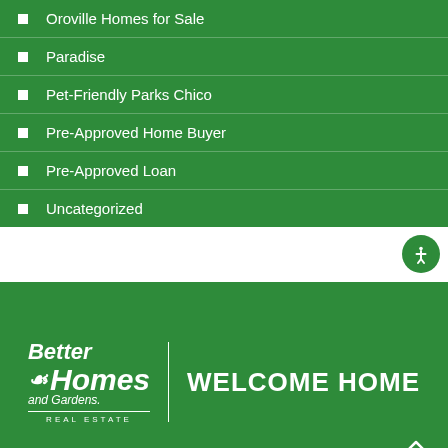Oroville Homes for Sale
Paradise
Pet-Friendly Parks Chico
Pre-Approved Home Buyer
Pre-Approved Loan
Uncategorized
[Figure (logo): Better Homes and Gardens Real Estate logo with WELCOME HOME text]
PARADISE OFFICE: 6141 CENTER ST, SUITE B PARADISE, CA 95969